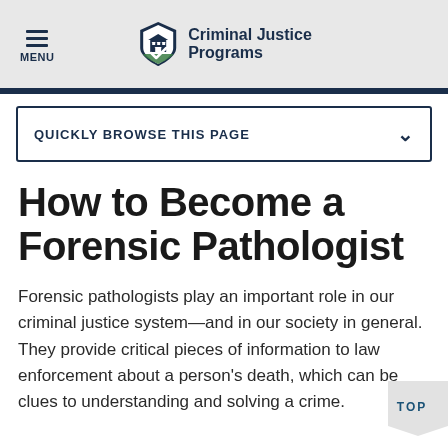MENU | Criminal Justice Programs
QUICKLY BROWSE THIS PAGE
How to Become a Forensic Pathologist
Forensic pathologists play an important role in our criminal justice system—and in our society in general. They provide critical pieces of information to law enforcement about a person's death, which can be clues to understanding and solving a crime.